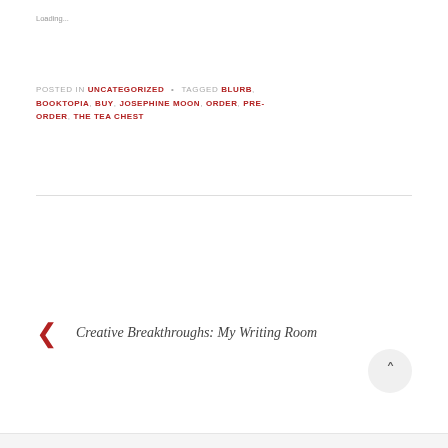Loading...
POSTED IN UNCATEGORIZED • TAGGED BLURB, BOOKTOPIA, BUY, JOSEPHINE MOON, ORDER, PRE-ORDER, THE TEA CHEST
Creative Breakthroughs: My Writing Room